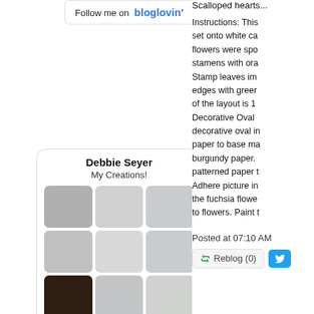[Figure (screenshot): Follow me on bloglovin' widget button]
[Figure (screenshot): Pinterest profile widget for Debbie Seyer showing My Creations! photo grid with Follow On Pinterest button]
Scalloped hearts...
Instructions: This set onto white ca flowers were spo stamens with ora Stamp leaves im edges with greer of the layout is 1 Decorative Oval decorative oval in paper to base ma burgundy paper. patterned paper t Adhere picture in the fuchsia flowe to flowers. Paint t
Posted at 07:10 AM
Reblog (0)